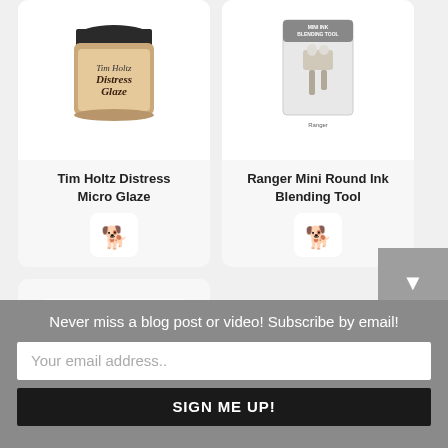[Figure (photo): Tim Holtz Distress Micro Glaze product jar with brown lid and label]
Tim Holtz Distress Micro Glaze
[Figure (photo): Ranger Mini Round Ink Blending Tool product in packaging]
Ranger Mini Round Ink Blending Tool
[Figure (photo): No image found placeholder with gray image icon]
Never miss a blog post or video! Subscribe by email!
Your email address..
SIGN ME UP!